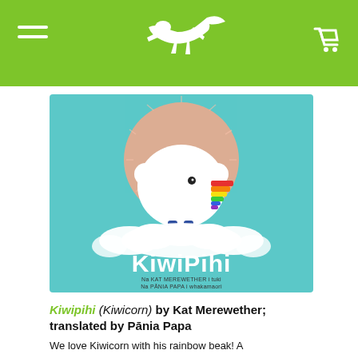[Navigation header with logo and cart]
[Figure (illustration): Book cover of KiwiPihi (Kiwicorn) - a children's book showing a white fluffy kiwi bird with a rainbow-colored unicorn horn beak, standing on a cloud against a teal background with a peach/salmon sun circle behind it. The title 'KiwiPihi' appears in large white text. Subtitle text reads 'Na Kat Merewether i tuki Na Pania Papa i whakamaori']
Kiwipihi (Kiwicorn) by Kat Merewether; translated by Pānia Papa
We love Kiwicorn with his rainbow beak! A title loved and favourited for...